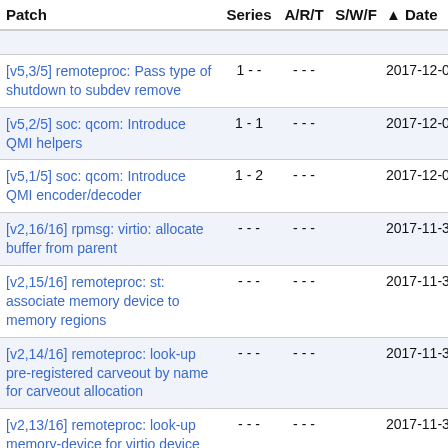| Patch | Series | A/R/T | S/W/F | Date |
| --- | --- | --- | --- | --- |
| [v5,3/5] remoteproc: Pass type of shutdown to subdev remove | 1 - - | - - - | 2017-12-0 |
| [v5,2/5] soc: qcom: Introduce QMI helpers | 1 - 1 | - - - | 2017-12-0 |
| [v5,1/5] soc: qcom: Introduce QMI encoder/decoder | 1 - 2 | - - - | 2017-12-0 |
| [v2,16/16] rpmsg: virtio: allocate buffer from parent | - - - | - - - | 2017-11-3 |
| [v2,15/16] remoteproc: st: associate memory device to memory regions | - - - | - - - | 2017-11-3 |
| [v2,14/16] remoteproc: look-up pre-registered carveout by name for carveout allocation | - - - | - - - | 2017-11-3 |
| [v2,13/16] remoteproc: look-up memory-device for virtio device allocation | - - - | - - - | 2017-11-3 |
| [v2,12/16] remoteproc: look-up memory-device for vring | - - - | - - - | 2017-11-3 |